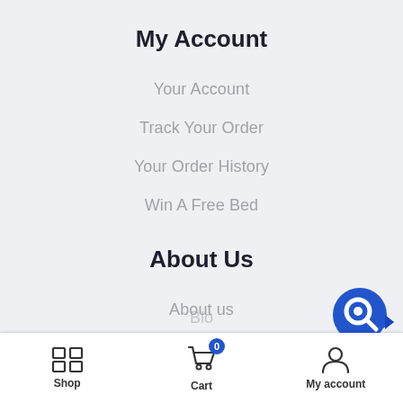My Account
Your Account
Track Your Order
Your Order History
Win A Free Bed
About Us
About us
Contact Info
Shop  Cart  My account